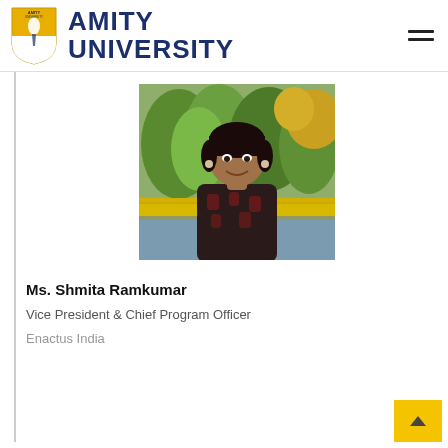AMITY UNIVERSITY
[Figure (photo): Portrait photo of Ms. Shmita Ramkumar outdoors, smiling, wearing a patterned shirt, with trees and a water body in the background]
Ms. Shmita Ramkumar
Vice President & Chief Program Officer
Enactus India